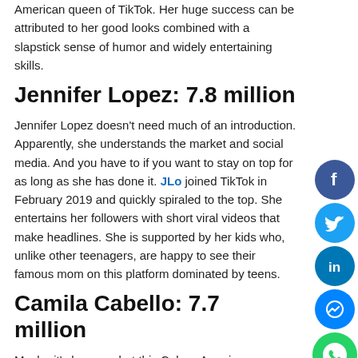American queen of TikTok. Her huge success can be attributed to her good looks combined with a slapstick sense of humor and widely entertaining skills.
Jennifer Lopez: 7.8 million
Jennifer Lopez doesn't need much of an introduction. Apparently, she understands the market and social media. And you have to if you want to stay on top for as long as she has done it. JLo joined TikTok in February 2019 and quickly spiraled to the top. She entertains her followers with short viral videos that make headlines. She is supported by her kids who, unlike other teenagers, are happy to see their famous mom on this platform dominated by teens.
Camila Cabello: 7.7 million
Maybe it's her age, but this Cuban-American "Señorita" has almost 8 million faithful followers. Camila doesn't create too many videos but